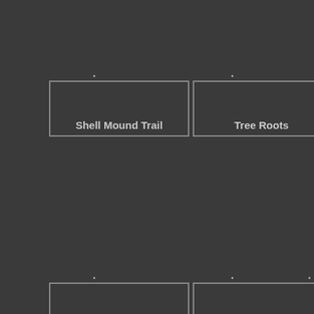Shell Mound Trail
Tree Roots
Oyster Cemetery
A Fence Demarcates the Boundary of a Cemetery
Shell Mound Trail Sign
Sh...